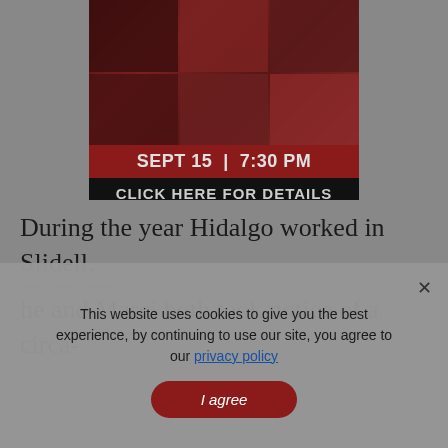[Figure (illustration): Promotional banner with dark red tinted photo collage of people, showing event date SEPT 15 | 7:30 PM on a crimson background, and CLICK HERE FOR DETAILS on a black background below]
During the year Hidalgo worked in Slidell, he and Marci both took notice of a circa-
This website uses cookies to give you the best experience, by continuing to use our site, you agree to our privacy policy